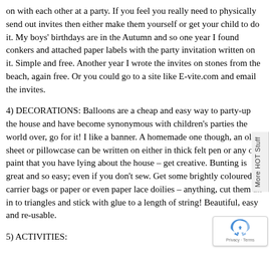on with each other at a party. If you feel you really need to physically send out invites then either make them yourself or get your child to do it. My boys' birthdays are in the Autumn and so one year I found conkers and attached paper labels with the party invitation written on it. Simple and free. Another year I wrote the invites on stones from the beach, again free. Or you could go to a site like E-vite.com and email the invites.
4) DECORATIONS: Balloons are a cheap and easy way to party-up the house and have become synonymous with children's parties the world over, go for it! I like a banner. A homemade one though, an old sheet or pillowcase can be written on either in thick felt pen or any old paint that you have lying about the house – get creative. Bunting is great and so easy; even if you don't sew. Get some brightly coloured carrier bags or paper or even paper lace doilies – anything, cut them all in to triangles and stick with glue to a length of string! Beautiful, easy and re-usable.
5) ACTIVITIES: